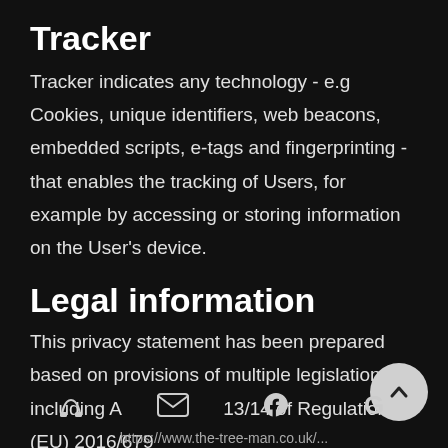Tracker
Tracker indicates any technology - e.g Cookies, unique identifiers, web beacons, embedded scripts, e-tags and fingerprinting - that enables the tracking of Users, for example by accessing or storing information on the User's device.
Legal information
This privacy statement has been prepared based on provisions of multiple legislations, including Art. 13/14 of Regulation (EU) 2016/679 (General Data Protection Regulation)
https://www.the-tree-man.co.uk/...